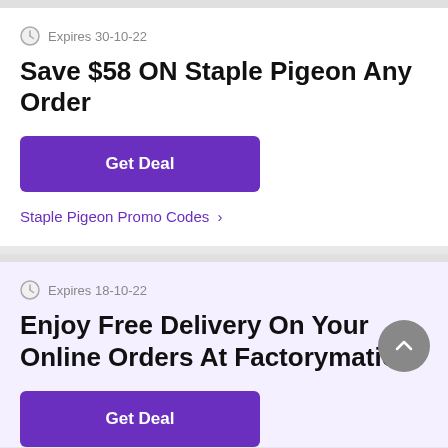Expires 30-10-22
Save $58 ON Staple Pigeon Any Order
Get Deal
Staple Pigeon Promo Codes >
Expires 18-10-22
Enjoy Free Delivery On Your Online Orders At Factorymation
Get Deal